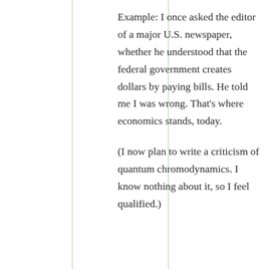Example: I once asked the editor of a major U.S. newspaper, whether he understood that the federal government creates dollars by paying bills. He told me I was wrong. That’s where economics stands, today.
(I now plan to write a criticism of quantum chromodynamics. I know nothing about it, so I feel qualified.)